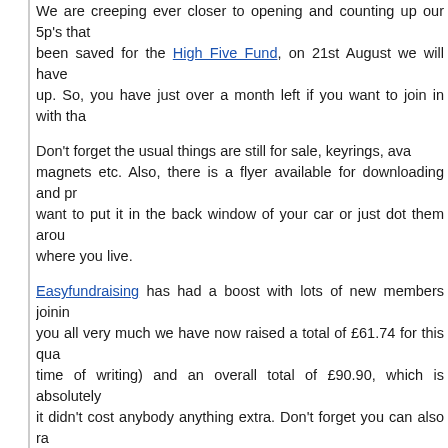We are creeping ever closer to opening and counting up our 5p's that been saved for the High Five Fund, on 21st August we will have up. So, you have just over a month left if you want to join in with tha
Don't forget the usual things are still for sale, keyrings, ava magnets etc. Also, there is a flyer available for downloading and pr want to put it in the back window of your car or just dot them arou where you live.
Easyfundraising has had a boost with lots of new members joinin you all very much we have now raised a total of £61.74 for this qua time of writing) and an overall total of £90.90, which is absolutely it didn't cost anybody anything extra. Don't forget you can also ra just by searching online with the Easysearch...
Thanks to you all for all your efforts for the fund xx
Pat
Back To Quick Links ^
Bob's Weekly Round-Up
Well it's newsletter time again...